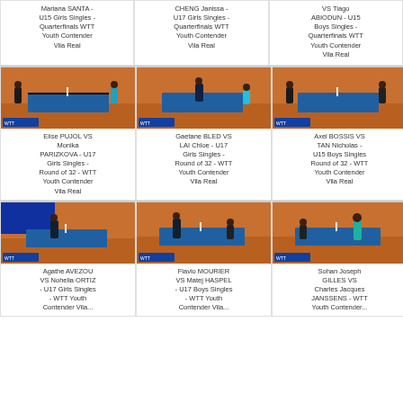Mariana SANTA - U15 Girls Singles - Quarterfinals WTT Youth Contender Vila Real
CHENG Janissa - U17 Girls Singles - Quarterfinals WTT Youth Contender Vila Real
VS Tiago ABIODUN - U15 Boys Singles - Quarterfinals WTT Youth Contender Vila Real
[Figure (photo): Table tennis match photo - indoor court with players]
[Figure (photo): Table tennis match photo - indoor court with players]
[Figure (photo): Table tennis match photo - indoor court with players]
Elise PUJOL VS Monika PARIZKOVA - U17 Girls Singles - Round of 32 - WTT Youth Contender Vila Real
Gaetane BLED VS LAI Chloe - U17 Girls Singles - Round of 32 - WTT Youth Contender Vila Real
Axel BOSSIS VS TAN Nicholas - U15 Boys Singles Round of 32 - WTT Youth Contender Vila Real
[Figure (photo): Table tennis match photo - indoor court with players]
[Figure (photo): Table tennis match photo - indoor court with players]
[Figure (photo): Table tennis match photo - indoor court with players]
Agathe AVEZOU VS Nohelia ORTIZ - U17 Girls Singles - WTT Youth Contender Vila...
Flavio MOURIER VS Matej HASPEL - U17 Boys Singles - WTT Youth Contender Vila...
Sohan Joseph GILLES VS Charles Jacques JANSSENS - WTT Youth Contender...